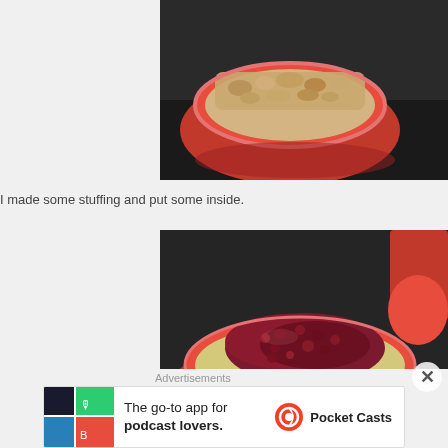[Figure (photo): Food photo: a red bowl/container with stuffing mixture inside, on a dark countertop]
I made some stuffing and put some inside.
[Figure (photo): Food photo: a red container with stuffing topped with dark cranberry sauce, another red container visible in the background]
Advertisements
[Figure (other): Advertisement for Pocket Casts: 'The go-to app for podcast lovers.']